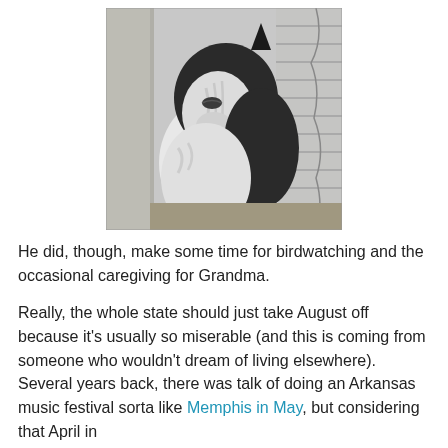[Figure (photo): Black and white photo of a tuxedo cat (black and white fur) looking upward near window blinds, appearing to be birdwatching. The image is in grayscale.]
He did, though, make some time for birdwatching and the occasional caregiving for Grandma.
Really, the whole state should just take August off because it's usually so miserable (and this is coming from someone who wouldn't dream of living elsewhere). Several years back, there was talk of doing an Arkansas music festival sorta like Memphis in May, but considering that April in